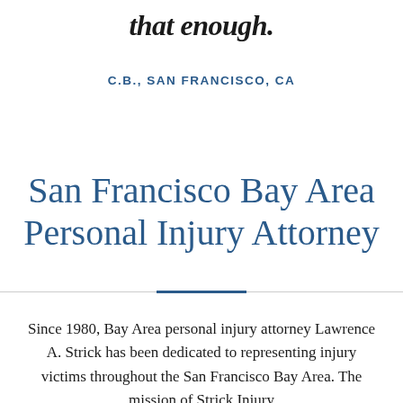that enough.
C.B., SAN FRANCISCO, CA
San Francisco Bay Area Personal Injury Attorney
Since 1980, Bay Area personal injury attorney Lawrence A. Strick has been dedicated to representing injury victims throughout the San Francisco Bay Area. The mission of Strick Injury